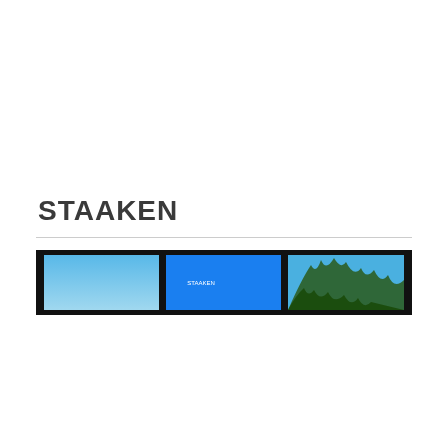STAAKEN
[Figure (photo): A horizontal strip of three images set against a black background: left image shows a clear blue sky gradient, center image shows a bright blue rectangle with small white text reading 'STAAKEN', right image shows tree branches against a blue sky.]